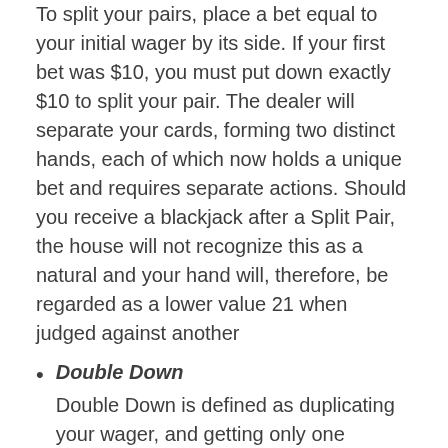To split your pairs, place a bet equal to your initial wager by its side. If your first bet was $10, you must put down exactly $10 to split your pair. The dealer will separate your cards, forming two distinct hands, each of which now holds a unique bet and requires separate actions. Should you receive a blackjack after a Split Pair, the house will not recognize this as a natural and your hand will, therefore, be regarded as a lower value 21 when judged against another
Double Down
Double Down is defined as duplicating your wager, and getting only one additional card. In order to Double Down, you place an extra wager on the table adjacent to your first wager for the same